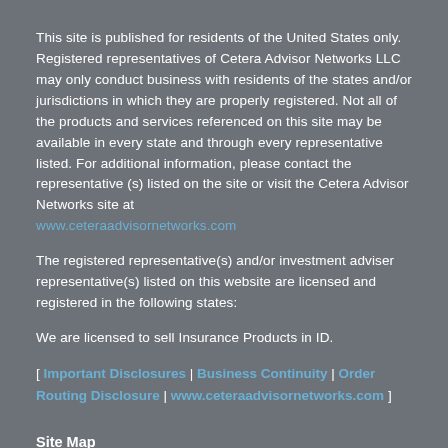This site is published for residents of the United States only. Registered representatives of Cetera Advisor Networks LLC may only conduct business with residents of the states and/or jurisdictions in which they are properly registered. Not all of the products and services referenced on this site may be available in every state and through every representative listed. For additional information, please contact the representative (s) listed on the site or visit the Cetera Advisor Networks site at www.ceteraadvisornetworks.com
The registered representative(s) and/or investment adviser representative(s) listed on this website are licensed and registered in the following states:
We are licensed to sell Insurance Products in ID.
[ Important Disclosures | Business Continuity | Order Routing Disclosure | www.ceteraadvisornetworks.com ]
Site Map